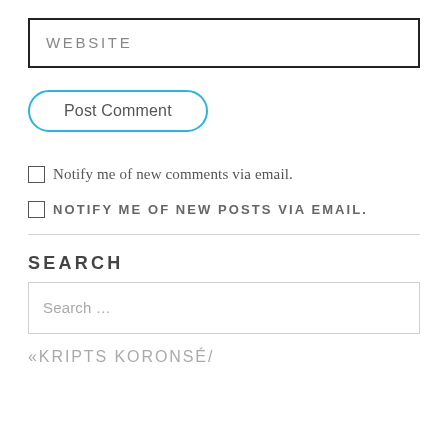WEBSITE
Post Comment
Notify me of new comments via email.
NOTIFY ME OF NEW POSTS VIA EMAIL.
SEARCH
Search ...
«KRIPTS KORONSÉ/